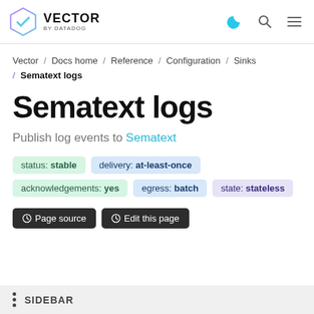[Figure (logo): Vector by Datadog logo with hexagon icon and navigation icons (moon, search, hamburger menu)]
Vector / Docs home / Reference / Configuration / Sinks / Sematext logs
Sematext logs
Publish log events to Sematext
status: stable
delivery: at-least-once
acknowledgements: yes
egress: batch
state: stateless
Page source   Edit this page
SIDEBAR